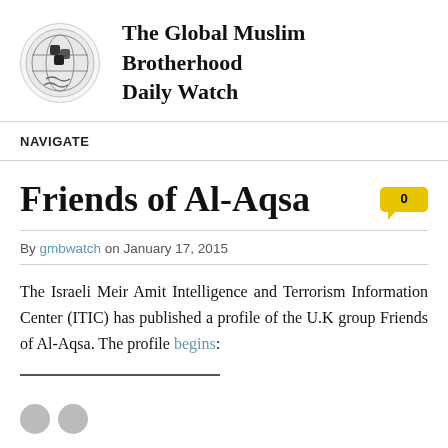[Figure (logo): Globe with puzzle pieces logo for The Global Muslim Brotherhood Daily Watch]
The Global Muslim Brotherhood Daily Watch
NAVIGATE
Friends of Al-Aqsa
By gmbwatch on January 17, 2015
The Israeli Meir Amit Intelligence and Terrorism Information Center (ITIC) has published a profile of the U.K group Friends of Al-Aqsa. The profile begins: